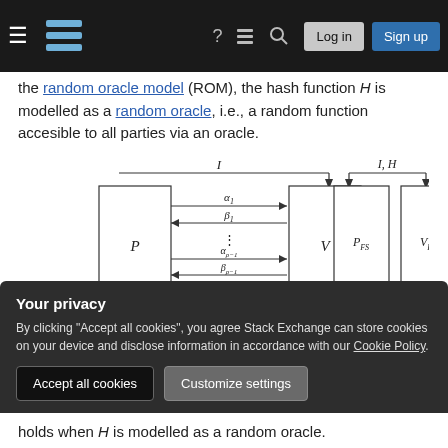Stack Exchange navigation bar with hamburger, logo, help, chat, search, Log in, Sign up buttons
the random oracle model (ROM), the hash function H is modelled as a random oracle, i.e., a random function accesible to all parties via an oracle.
[Figure (engineering-diagram): Two protocol diagrams side by side. Left: Interactive proof with prover P and verifier V, showing exchanges: I (top), alpha_1 right arrow, beta_1 left arrow, dots, alpha_{rho-1} right arrow, beta_{rho-1} left arrow, alpha_rho right arrow. Right: Fiat-Shamir non-interactive proof with P_FS and V_FS, showing I,H (top) and alpha_1,...,alpha_rho (bottom arrow).]
The Fiat-Shamir transform is said to be "sound", if it
Your privacy
By clicking "Accept all cookies", you agree Stack Exchange can store cookies on your device and disclose information in accordance with our Cookie Policy.
Accept all cookies    Customize settings
holds when H is modelled as a random oracle.